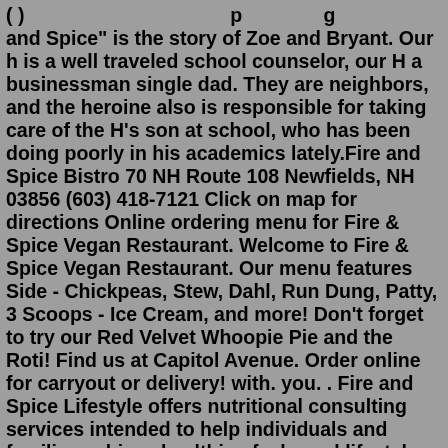( ) p g and Spice" is the story of Zoe and Bryant. Our h is a well traveled school counselor, our H a businessman single dad. They are neighbors, and the heroine also is responsible for taking care of the H's son at school, who has been doing poorly in his academics lately.Fire and Spice Bistro 70 NH Route 108 Newfields, NH 03856 (603) 418-7121 Click on map for directions Online ordering menu for Fire & Spice Vegan Restaurant. Welcome to Fire & Spice Vegan Restaurant. Our menu features Side - Chickpeas, Stew, Dahl, Run Dung, Patty, 3 Scoops - Ice Cream, and more! Don't forget to try our Red Velvet Whoopie Pie and the Roti! Find us at Capitol Avenue. Order online for carryout or delivery! with. you. . Fire and Spice Lifestyle offers nutritional consulting services intended to help individuals and families achieve healthier, feel-good lifestyles. Founded by Julie Rosanne Nancy, R.H.N. - alumni of the Canadian School of Natural Nutrition and a Registered Holistic Nutritionist recognized in the province of Ontario.